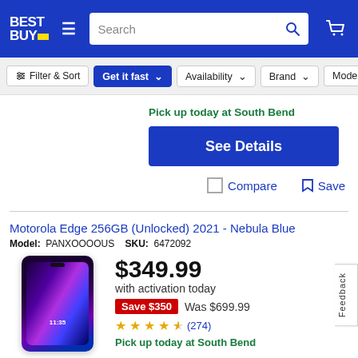[Figure (screenshot): Best Buy website header with logo, hamburger menu, search bar, and cart icon on blue background]
Filter & Sort  Get it fast  Availability  Brand  Model F
Pick up today at South Bend
See Details
Compare  Save
Motorola Edge 256GB (Unlocked) 2021 - Nebula Blue
Model: PANXOOOOUS  SKU: 6472092
$349.99
with activation today
Save $350  Was $699.99
(274)
Pick up today at South Bend